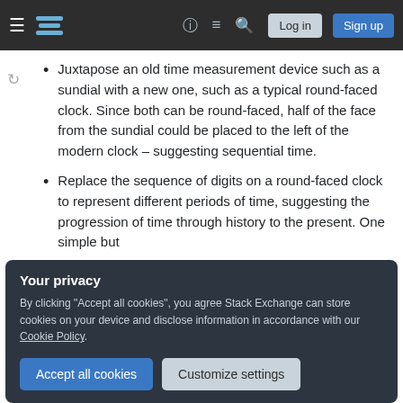Stack Exchange navigation bar with hamburger menu, logo, help, chat, search icons, Log in and Sign up buttons
Juxtapose an old time measurement device such as a sundial with a new one, such as a typical round-faced clock. Since both can be round-faced, half of the face from the sundial could be placed to the left of the modern clock – suggesting sequential time.
Replace the sequence of digits on a round-faced clock to represent different periods of time, suggesting the progression of time through history to the present. One simple but
Your privacy
By clicking "Accept all cookies", you agree Stack Exchange can store cookies on your device and disclose information in accordance with our Cookie Policy.
Accept all cookies
Customize settings
Follow